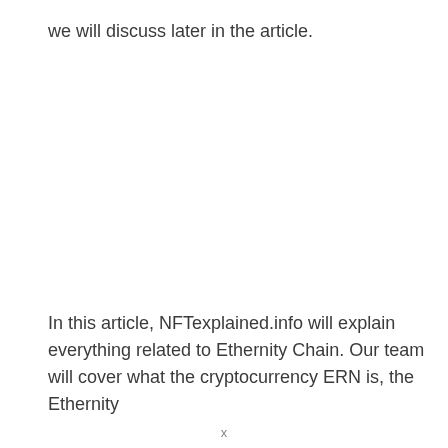we will discuss later in the article.
In this article, NFTexplained.info will explain everything related to Ethernity Chain. Our team will cover what the cryptocurrency ERN is, the Ethernity
x